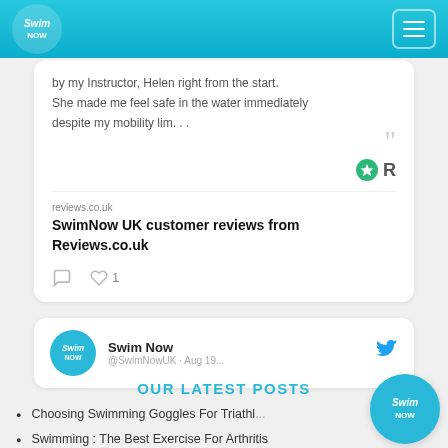Swim Now
by my Instructor, Helen right from the start. She made me feel safe in the water immediately despite my mobility lim...
[Figure (screenshot): Reviews.co.uk link preview card showing 'SwimNow UK customer reviews from Reviews.co.uk' with comment and heart icons (1 like)]
[Figure (screenshot): Swim Now Twitter card with SwimNow logo avatar and Twitter bird icon]
OUR LATEST POSTS
Choosing Swimming Goggles For Triathl...
Swimming : The Best Exercise For Arthritis